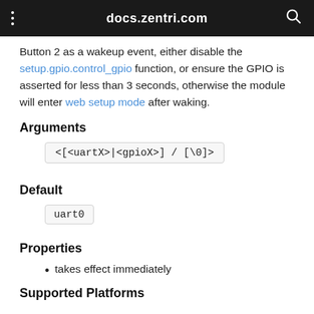docs.zentri.com
Button 2 as a wakeup event, either disable the setup.gpio.control_gpio function, or ensure the GPIO is asserted for less than 3 seconds, otherwise the module will enter web setup mode after waking.
Arguments
<[<uartX>|<gpioX>] / [\0]>
Default
uart0
Properties
takes effect immediately
Supported Platforms